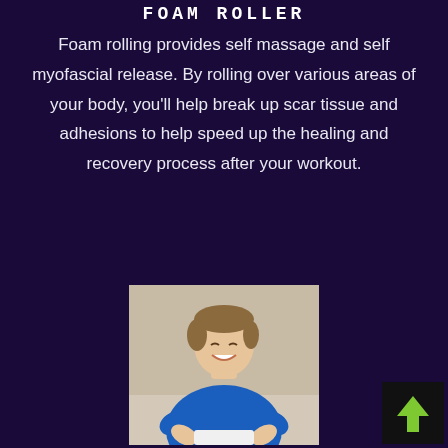FOAM ROLLER
Foam rolling provides self massage and self myofascial release. By rolling over various areas of your body, you'll help break up scar tissue and adhesions to help speed up the healing and recovery process after your workout.
[Figure (photo): Young man in a blue t-shirt smiling and using a foam roller on his arm, seated in what appears to be a gym or physical therapy setting]